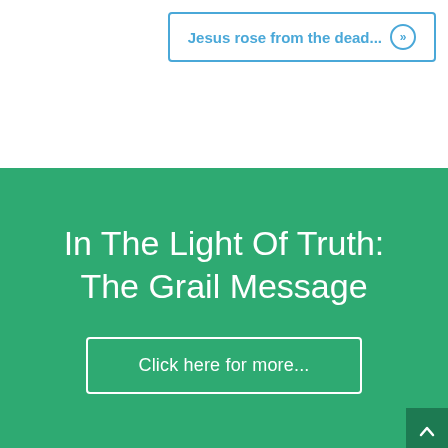Jesus rose from the dead... »
In The Light Of Truth: The Grail Message
Click here for more...